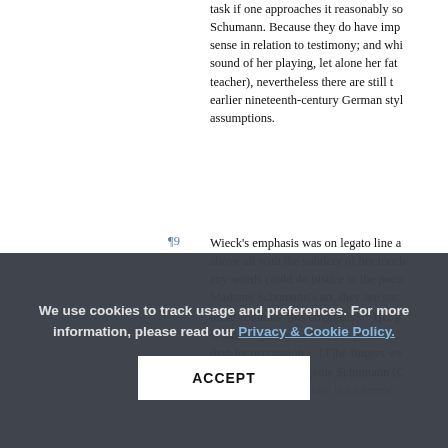task if one approaches it reasonably so... Schumann. Because they do have impo... sense in relation to testimony; and whil... sound of her playing, let alone her fathe... teacher), nevertheless there are still thi... earlier nineteenth-century German style... assumptions.
¶9 Wieck's emphasis was on legato line ar... above all with the subtlety of her touch ... any words could do justice to the poetic... Madame Schumann's art, they are such... these columns' (his emphasis). 6 Her p... beautiful quality of tone she produced ... than by percussion ... [T]he fingers wer... striking them'. 7 Eugenie Schumann (Cl... her autobiography entitled 'An Attempt'...
the biography, 210 line 21 / the use...
We use cookies to track usage and preferences. For more information, please read our Privacy & Cookie Policy.
ACCEPT
...old with beyond her best-known c-mino... companionship of Sascha Fei-... ...love this of the artist, a live... separation of liess and speech is c...